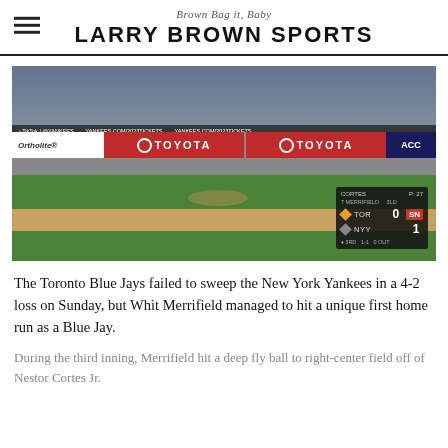Brown Bag it, Baby — LARRY BROWN SPORTS
[Figure (photo): Baseball game photo showing a Yankees pitcher on the mound with a Blue Jays batter at the plate at Yankee Stadium. Scoreboard overlay shows TOR 0, NYY 1 in the 3rd inning. Ortholite and Toyota sponsor banners visible.]
The Toronto Blue Jays failed to sweep the New York Yankees in a 4-2 loss on Sunday, but Whit Merrifield managed to hit a unique first home run as a Blue Jay.
During the third inning, Merrifield hit a deep fly ball to right-center field off of Nestor Cortes Jr.